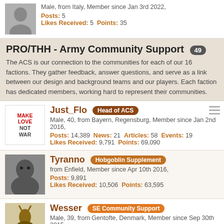Male, from Italy, Member since Jan 3rd 2022,
Posts: 5  Likes Received: 5  Points: 35
PRO/THH - Army Community Support 49
The ACS is our connection to the communities for each of our 16 factions. They gather feedback, answer questions, and serve as a link between our design and background teams and our players. Each faction has dedicated members, working hard to represent their communities.
Just_Flo  Head of ACS
Male, 40, from Bayern, Regensburg, Member since Jan 2nd 2016,
Posts: 14,389  News: 21  Articles: 58  Events: 19
Likes Received: 9,791  Points: 69,090
Tyranno  Hobgoblin Supplement
from Enfield, Member since Apr 10th 2016,
Posts: 9,891
Likes Received: 10,506  Points: 63,595
Wesser  SE Community Support
Male, 39, from Gentofte, Denmark, Member since Sep 30th 2015,
Posts: 10,015
Likes Received: 10,024  Points: 61,009
DarkSky  DE Community Support
Male, from Stuttgart, Germany, Member since Nov 12th 2015,